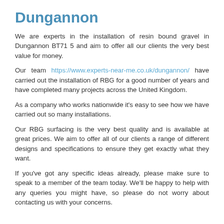Dungannon
We are experts in the installation of resin bound gravel in Dungannon BT71 5 and aim to offer all our clients the very best value for money.
Our team https://www.experts-near-me.co.uk/dungannon/ have carried out the installation of RBG for a good number of years and have completed many projects across the United Kingdom.
As a company who works nationwide it's easy to see how we have carried out so many installations.
Our RBG surfacing is the very best quality and is available at great prices. We aim to offer all of our clients a range of different designs and specifications to ensure they get exactly what they want.
If you've got any specific ideas already, please make sure to speak to a member of the team today. We'll be happy to help with any queries you might have, so please do not worry about contacting us with your concerns.